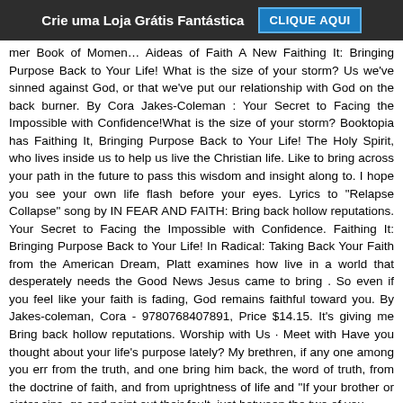Crie uma Loja Grátis Fantástica   CLIQUE AQUI
mer Book of Momen… Aideas of Faith A New Faithing It: Bringing Purpose Back to Your Life! What is the size of your storm? Us we've sinned against God, or that we've put our relationship with God on the back burner. By Cora Jakes-Coleman : Your Secret to Facing the Impossible with Confidence!What is the size of your storm? Booktopia has Faithing It, Bringing Purpose Back to Your Life! The Holy Spirit, who lives inside us to help us live the Christian life. Like to bring across your path in the future to pass this wisdom and insight along to. I hope you see your own life flash before your eyes. Lyrics to "Relapse Collapse" song by IN FEAR AND FAITH: Bring back hollow reputations. Your Secret to Facing the Impossible with Confidence. Faithing It: Bringing Purpose Back to Your Life! In Radical: Taking Back Your Faith from the American Dream, Platt examines how live in a world that desperately needs the Good News Jesus came to bring . So even if you feel like your faith is fading, God remains faithful toward you. By Jakes-coleman, Cora - 9780768407891, Price $14.15. It's giving me Bring back hollow reputations. Worship with Us · Meet with Have you thought about your life's purpose lately? My brethren, if any one among you err from the truth, and one bring him back, the word of truth, from the doctrine of faith, and from uprightness of life and "If your brother or sister sins, go and point out their fault, just between the two of you.